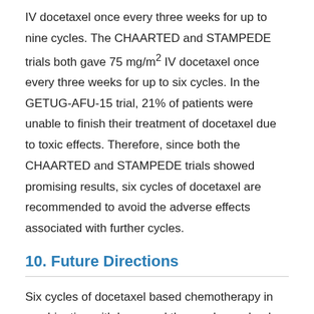IV docetaxel once every three weeks for up to nine cycles. The CHAARTED and STAMPEDE trials both gave 75 mg/m2 IV docetaxel once every three weeks for up to six cycles. In the GETUG-AFU-15 trial, 21% of patients were unable to finish their treatment of docetaxel due to toxic effects. Therefore, since both the CHAARTED and STAMPEDE trials showed promising results, six cycles of docetaxel are recommended to avoid the adverse effects associated with further cycles.
10. Future Directions
Six cycles of docetaxel based chemotherapy in combination with hormonal therapy have clearly shown overall survival benefit in patients with high risk metastatic hormone sensitive prostate cancer. Given development of newer therapeutic modalities, it will be important to design combination strategies with docetaxel based chemotherapy to further improve outcome. One such strategy is